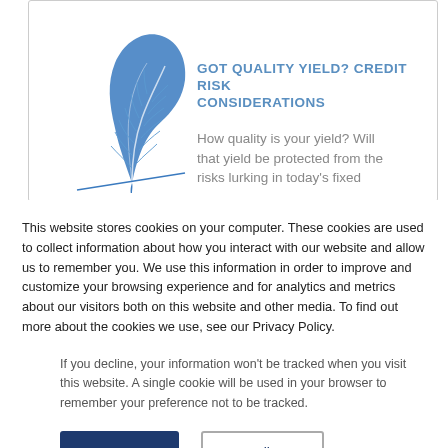[Figure (illustration): Blue feather quill illustration with a horizontal line beneath it, used as a logo or decorative element for the article card.]
GOT QUALITY YIELD? CREDIT RISK CONSIDERATIONS
How quality is your yield? Will that yield be protected from the risks lurking in today's fixed
This website stores cookies on your computer. These cookies are used to collect information about how you interact with our website and allow us to remember you. We use this information in order to improve and customize your browsing experience and for analytics and metrics about our visitors both on this website and other media. To find out more about the cookies we use, see our Privacy Policy.
If you decline, your information won't be tracked when you visit this website. A single cookie will be used in your browser to remember your preference not to be tracked.